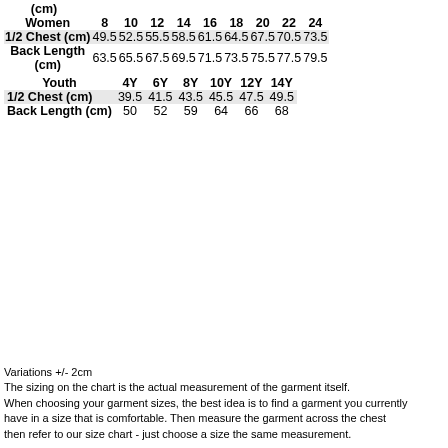| Women | 8 | 10 | 12 | 14 | 16 | 18 | 20 | 22 | 24 |
| --- | --- | --- | --- | --- | --- | --- | --- | --- | --- |
| 1/2 Chest (cm) | 49.5 | 52.5 | 55.5 | 58.5 | 61.5 | 64.5 | 67.5 | 70.5 | 73.5 |
| Back Length (cm) | 63.5 | 65.5 | 67.5 | 69.5 | 71.5 | 73.5 | 75.5 | 77.5 | 79.5 |
| Youth | 4Y | 6Y | 8Y | 10Y | 12Y | 14Y |
| --- | --- | --- | --- | --- | --- | --- |
| 1/2 Chest (cm) | 39.5 | 41.5 | 43.5 | 45.5 | 47.5 | 49.5 |
| Back Length (cm) | 50 | 52 | 59 | 64 | 66 | 68 |
Variations +/- 2cm
The sizing on the chart is the actual measurement of the garment itself.
When choosing your garment sizes, the best idea is to find a garment you currently have in a size that is comfortable. Then measure the garment across the chest then refer to our size chart - just choose a size the same measurement.